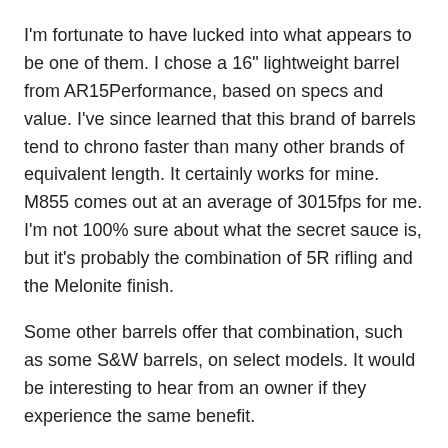I'm fortunate to have lucked into what appears to be one of them. I chose a 16" lightweight barrel from AR15Performance, based on specs and value. I've since learned that this brand of barrels tend to chrono faster than many other brands of equivalent length. It certainly works for mine. M855 comes out at an average of 3015fps for me. I'm not 100% sure about what the secret sauce is, but it's probably the combination of 5R rifling and the Melonite finish.
Some other barrels offer that combination, such as some S&W barrels, on select models. It would be interesting to hear from an owner if they experience the same benefit.
There are a couple of other barrels with a reputation for extra velocity as well. The Noveske 3 groove as available through MSTN is one of them.
All this to say, there may be some options for the builder who